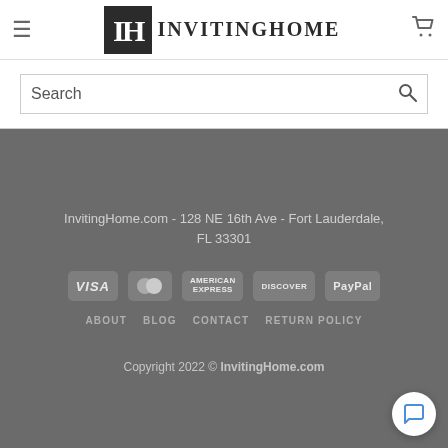[Figure (logo): InvitingHome logo with IH monogram in dark box and INVITINGHOME text beside it]
Search
InvitingHome.com - 128 NE 16th Ave - Fort Lauderdale, FL 33301
[Figure (other): Payment method icons: VISA, MasterCard, American Express, Discover, PayPal]
ABOUT   BLOG   CONTACT   RETURN POLICY
Copyright 2022 © InvitingHome.com